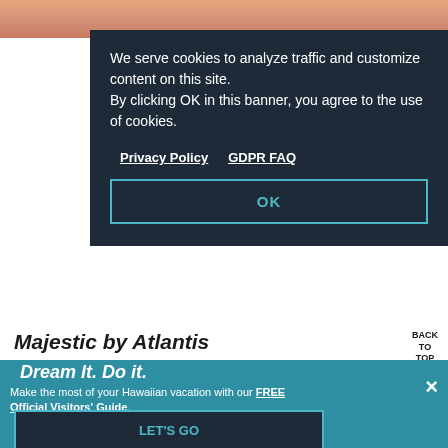[Figure (photo): Top portion of a webpage showing a peach/salmon colored image strip at the top]
We serve cookies to analyze traffic and customize content on this site. By clicking OK in this banner, you agree to the use of cookies.
Privacy Policy   GDPR FAQ
OK
Majestic by Atlantis Cruise
BACK TO TOP
Dream It. Do it.
Make the most of your Hawaiian vacation with our FREE Official Visitors' Guide.
ALOHA
HONOLULU, HI 96815
LET'S GO
See Oahu's vibrant sunset aboard Majestic,
Waikiki's only full-service bar and